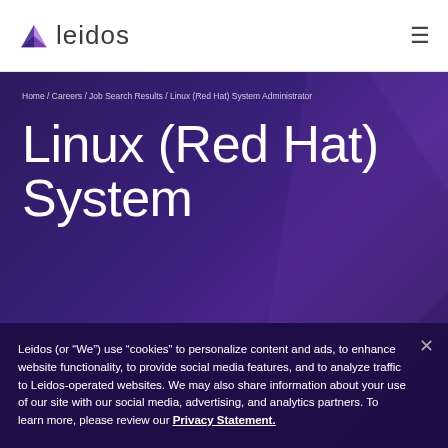[Figure (logo): Leidos logo with purple arrow/triangle icon and 'leidos' wordmark in dark gray]
Home / Careers / Job Search Results / Linux (Red Hat) System Administrator
Linux (Red Hat) System
Leidos (or “We”) use “cookies” to personalize content and ads, to enhance website functionality, to provide social media features, and to analyze traffic to Leidos-operated websites. We may also share information about your use of our site with our social media, advertising, and analytics partners. To learn more, please review our Privacy Statement.